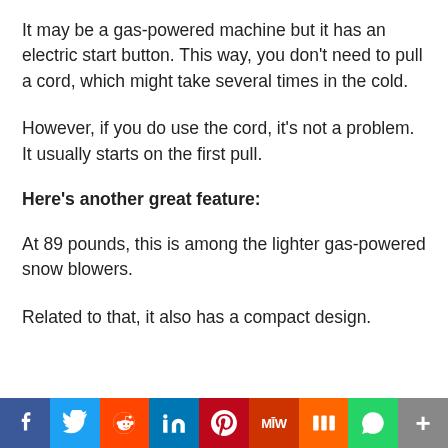It may be a gas-powered machine but it has an electric start button. This way, you don't need to pull a cord, which might take several times in the cold.
However, if you do use the cord, it's not a problem. It usually starts on the first pull.
Here's another great feature:
At 89 pounds, this is among the lighter gas-powered snow blowers.
Related to that, it also has a compact design.
[Figure (infographic): Social media sharing bar with icons for Facebook, Twitter, Reddit, LinkedIn, Pinterest, MeWe, Mix, WhatsApp, and More]